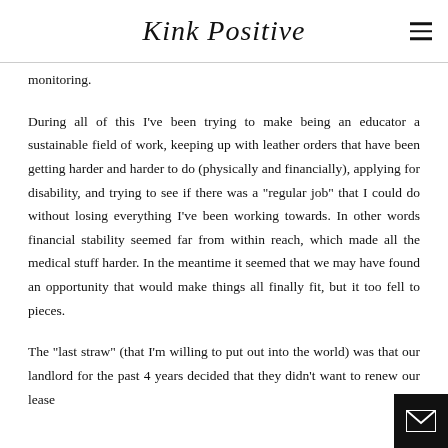Kink Positive
monitoring.
During all of this I've been trying to make being an educator a sustainable field of work, keeping up with leather orders that have been getting harder and harder to do (physically and financially), applying for disability, and trying to see if there was a "regular job" that I could do without losing everything I've been working towards. In other words financial stability seemed far from within reach, which made all the medical stuff harder. In the meantime it seemed that we may have found an opportunity that would make things all finally fit, but it too fell to pieces.
The "last straw" (that I'm willing to put out into the world) was that our landlord for the past 4 years decided that they didn't want to renew our lease